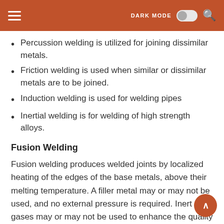DARK MODE [toggle] [search]
Percussion welding is utilized for joining dissimilar metals.
Friction welding is used when similar or dissimilar metals are to be joined.
Induction welding is used for welding pipes
Inertial welding is for welding of high strength alloys.
Fusion Welding
Fusion welding produces welded joints by localized heating of the edges of the base metals, above their melting temperature. A filler metal may or may not be used, and no external pressure is required. Inert gases may or may not be used to enhance the quality of the weld created. The welded joint is achieved after solidification of the fused weld pool. Metals to be joined